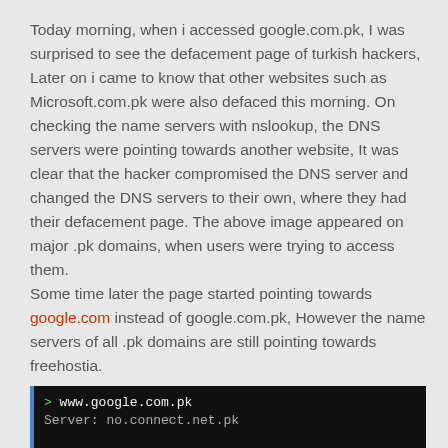Today morning, when i accessed google.com.pk, I was surprised to see the defacement page of turkish hackers, Later on i came to know that other websites such as Microsoft.com.pk were also defaced this morning. On checking the name servers with nslookup, the DNS servers were pointing towards another website, It was clear that the hacker compromised the DNS server and changed the DNS servers to their own, where they had their defacement page. The above image appeared on major .pk domains, when users were trying to access them.
Some time later the page started pointing towards google.com instead of google.com.pk, However the name servers of all .pk domains are still pointing towards freehostia.
[Figure (screenshot): Terminal/command prompt screenshot showing 'www.google.com.pk' command and partial output line beginning with server connection info, dark background with light text.]